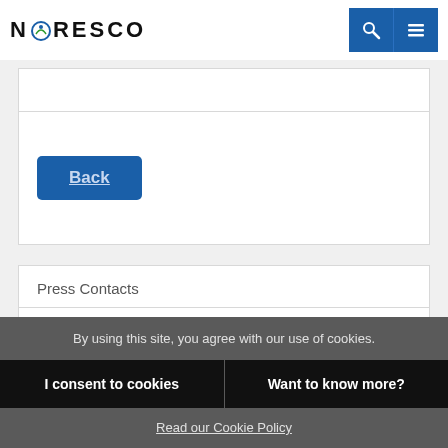NORESCO
Back
Press Contacts
By using this site, you agree with our use of cookies.
I consent to cookies
Want to know more?
Read our Cookie Policy